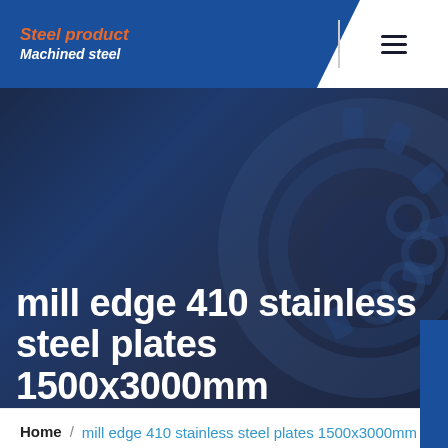Steel product / Machined steel
mill edge 410 stainless steel plates 1500x3000mm
Home / mill edge 410 stainless steel plates 1500x3000mm